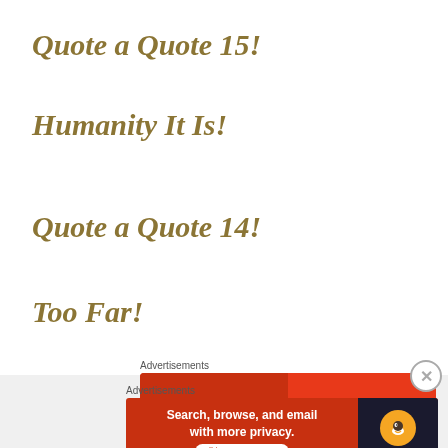Quote a Quote 15!
Humanity It Is!
Quote a Quote 14!
Too Far!
Advertisements
[Figure (illustration): Advertisement banner for a podcast/audio app showing a phone with 'Dis-trib-uted' text on red background with text 'An app by listeners, for listeners.']
Advertisements
[Figure (illustration): DuckDuckGo advertisement banner: 'Search, browse, and email with more privacy. All in One Free App' with DuckDuckGo logo on dark background.]